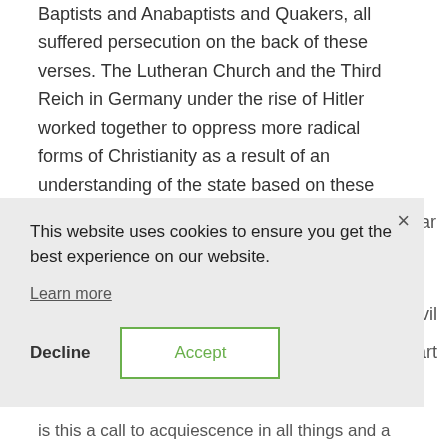Baptists and Anabaptists and Quakers, all suffered persecution on the back of these verses. The Lutheran Church and the Third Reich in Germany under the rise of Hitler worked together to oppress more radical forms of Christianity as a result of an understanding of the state based on these
[Figure (screenshot): Cookie consent dialog overlay with message 'This website uses cookies to ensure you get the best experience on our website.', a 'Learn more' link, and two buttons: 'Decline' and 'Accept'. A close (×) button is in the top-right corner.]
is this a call to acquiescence in all things and a